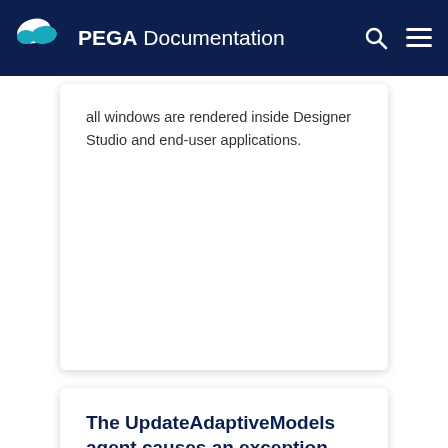PEGA Documentation
all windows are rendered inside Designer Studio and end-user applications.
The UpdateAdaptiveModels agent causes an exception after Pega 7.2 to 7.2.1 upgrade
READY TO CRUSH COMPLEXITY?
By using this site, you agree to the use of cookies.
Read our Privacy Policy
Accept and continue
About cookies